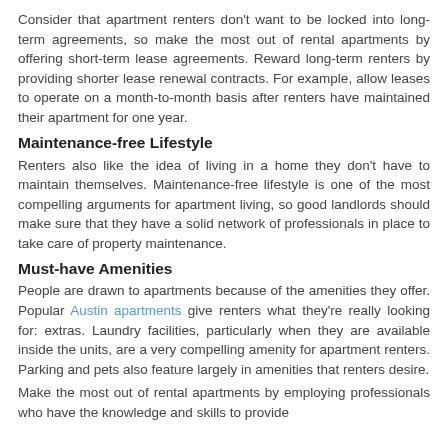Consider that apartment renters don't want to be locked into long-term agreements, so make the most out of rental apartments by offering short-term lease agreements. Reward long-term renters by providing shorter lease renewal contracts. For example, allow leases to operate on a month-to-month basis after renters have maintained their apartment for one year.
Maintenance-free Lifestyle
Renters also like the idea of living in a home they don't have to maintain themselves. Maintenance-free lifestyle is one of the most compelling arguments for apartment living, so good landlords should make sure that they have a solid network of professionals in place to take care of property maintenance.
Must-have Amenities
People are drawn to apartments because of the amenities they offer. Popular Austin apartments give renters what they're really looking for: extras. Laundry facilities, particularly when they are available inside the units, are a very compelling amenity for apartment renters. Parking and pets also feature largely in amenities that renters desire.
Make the most out of rental apartments by employing professionals who have the knowledge and skills to provide